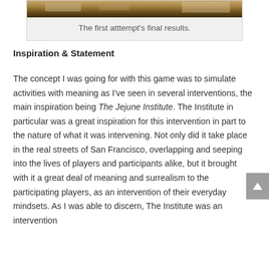[Figure (photo): Photo of a tabletop game scene with papers and cards on a wooden surface, partially visible at top of page]
The first atttempt's final results.
Inspiration & Statement
The concept I was going for with this game was to simulate activities with meaning as I've seen in several interventions, the main inspiration being The Jejune Institute. The Institute in particular was a great inspiration for this intervention in part to the nature of what it was intervening. Not only did it take place in the real streets of San Francisco, overlapping and seeping into the lives of players and participants alike, but it brought with it a great deal of meaning and surrealism to the participating players, as an intervention of their everyday mindsets. As I was able to discern, The Institute was an intervention